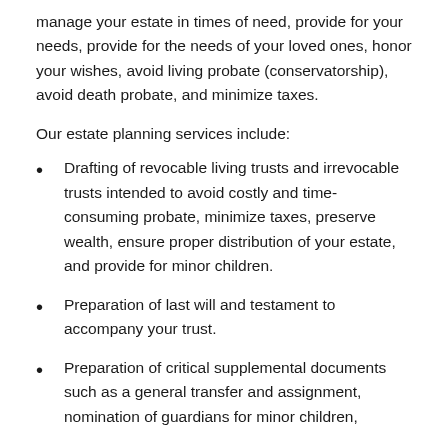manage your estate in times of need, provide for your needs, provide for the needs of your loved ones, honor your wishes, avoid living probate (conservatorship), avoid death probate, and minimize taxes.
Our estate planning services include:
Drafting of revocable living trusts and irrevocable trusts intended to avoid costly and time-consuming probate, minimize taxes, preserve wealth, ensure proper distribution of your estate, and provide for minor children.
Preparation of last will and testament to accompany your trust.
Preparation of critical supplemental documents such as a general transfer and assignment, nomination of guardians for minor children,